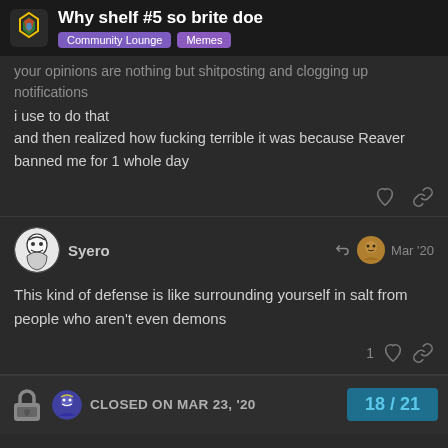Why shelf #5 so brite doe — Community Lounge, Memes
your opinions are nothing but shitposting and clogging up notifications
i use to do that
and then realized how fucking terrible it was because Reaver banned me for 1 whole day
Syero — Mar '20
This kind of defense is like surrounding yourself in salt from people who aren't even demons
CLOSED ON MAR 23, '20
18 / 21